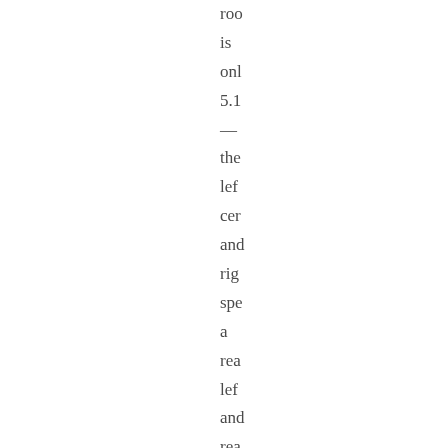roo is onl 5.1 — the lef cer and rig spe a rea lef and rea rig spe and